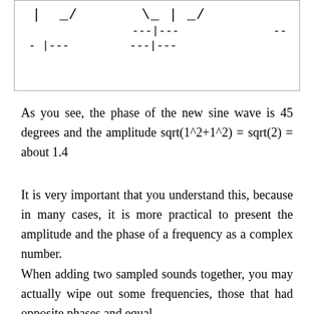[Figure (other): ASCII art waveform diagram showing sine wave shapes with tick marks and dashes representing phase indicators]
As you see, the phase of the new sine wave is 45 degrees and the amplitude sqrt(1^2+1^2) = sqrt(2) = about 1.4
It is very important that you understand this, because in many cases, it is more practical to present the amplitude and the phase of a frequency as a complex number.
When adding two sampled sounds together, you may actually wipe out some frequencies, those that had opposite phases and equal